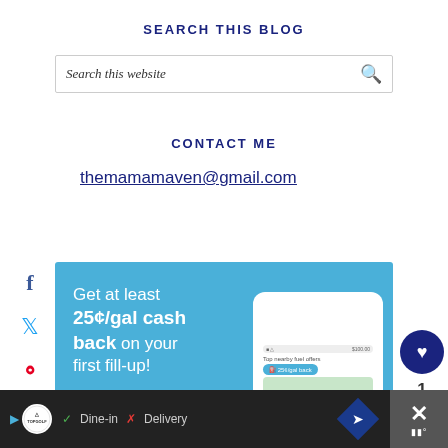SEARCH THIS BLOG
Search this website
CONTACT ME
themamamaven@gmail.com
[Figure (infographic): Advertisement banner with blue background: 'Get at least 25¢/gal cash back on your first fill-up!' with a smartphone showing fuel offers app]
0 SHARES
[Figure (infographic): Bottom advertisement bar with Topgolf logo, Dine-in checkmark, Delivery X mark, navigation arrow icon, and close button]